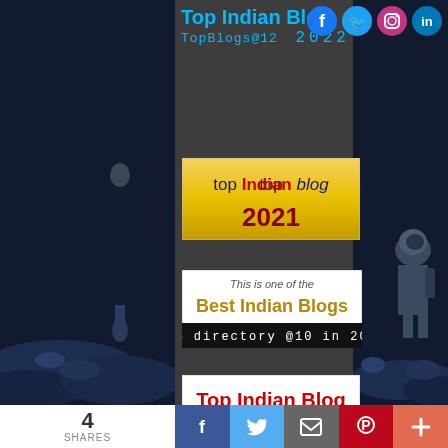[Figure (screenshot): Top Indian Blog award badges sidebar with header showing 'Top Indian Blog TopBlogs@12 2022', social media icons (Facebook, Twitter, Instagram, LinkedIn), and multiple award badge images for years 2021, 2020, 2019, 2018, 2017, 2016]
4 SHARES | Facebook | Twitter | Email | Pinterest | +